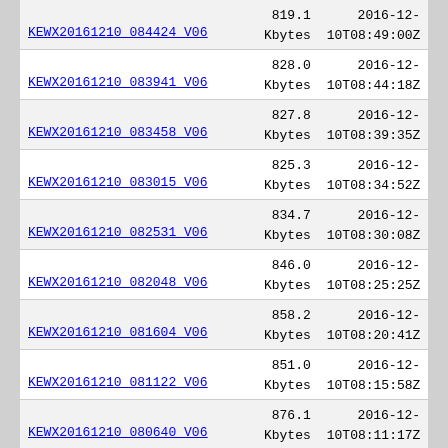| Name | Size | Date |
| --- | --- | --- |
| KEWX20161210 084424 V06 | 819.1 Kbytes | 2016-12-10T08:49:00Z |
| KEWX20161210 083941 V06 | 828.0 Kbytes | 2016-12-10T08:44:18Z |
| KEWX20161210 083458 V06 | 827.8 Kbytes | 2016-12-10T08:39:35Z |
| KEWX20161210 083015 V06 | 825.3 Kbytes | 2016-12-10T08:34:52Z |
| KEWX20161210 082531 V06 | 834.7 Kbytes | 2016-12-10T08:30:08Z |
| KEWX20161210 082048 V06 | 846.0 Kbytes | 2016-12-10T08:25:25Z |
| KEWX20161210 081604 V06 | 858.2 Kbytes | 2016-12-10T08:20:41Z |
| KEWX20161210 081122 V06 | 851.0 Kbytes | 2016-12-10T08:15:58Z |
| KEWX20161210 080640 V06 | 876.1 Kbytes | 2016-12-10T08:11:17Z |
| KEWX20161210 080156 V06 | 887.6 Kbytes | 2016-12-10T08:06:33Z |
| KEWX20161210 075713 V06 | 897.0 Kbytes | 2016-12-10T08:01:49Z |
|  | 906.6 | 2016-12- |